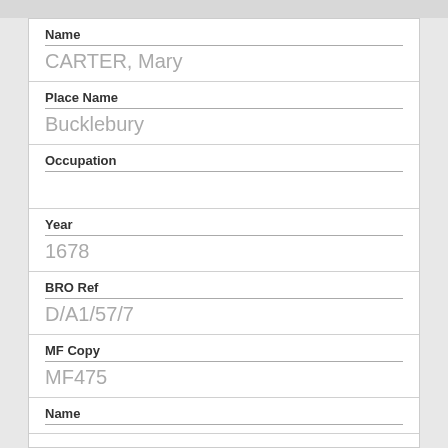Name
CARTER, Mary
Place Name
Bucklebury
Occupation
Year
1678
BRO Ref
D/A1/57/7
MF Copy
MF475
Name